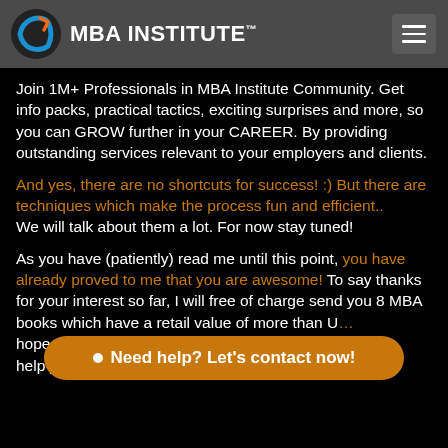MBA INSTITUTE™
Join 1M+ Professionals in MBA Institute Community. Get info packs, practical tactics, exciting surprises and more, so you can GROW further in your CAREER. By providing outstanding services relevant to your employers and clients.
And yes, there are no shortcuts for success! :) But there are techniques which make the process fun and efficient.. We will talk about them a lot. For now stay tuned!
As you have (patiently) read me until this point, you have already proved to me that you are awesome! To say thanks for your interest so far, I will free of charge send you 8 MBA books which have a retail value of more than U... hope you will... help you out to learn a thing or two.
Need help? Let's contact now!